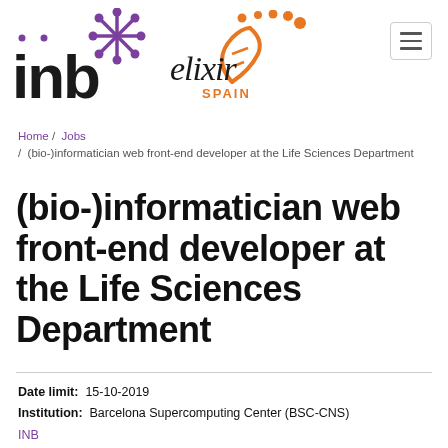[Figure (logo): INB logo with purple asterisk/snowflake symbol and bold lowercase 'inb' text]
[Figure (logo): ELIXIR Spain logo with orange DNA helix and orange dotted circular arc, text 'elixir SPAIN']
Home / Jobs / (bio-)informatician web front-end developer at the Life Sciences Department
(bio-)informatician web front-end developer at the Life Sciences Department
Date limit: 15-10-2019
Institution: Barcelona Supercomputing Center (BSC-CNS)
INB